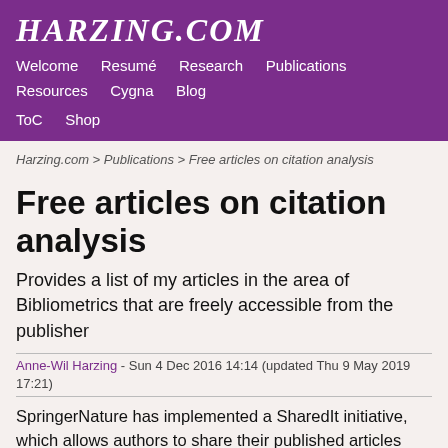HARZING.COM
Welcome  Resumé  Research  Publications  Resources  Cygna  Blog  ToC  Shop
Harzing.com > Publications > Free articles on citation analysis
Free articles on citation analysis
Provides a list of my articles in the area of Bibliometrics that are freely accessible from the publisher
Anne-Wil Harzing - Sun 4 Dec 2016 14:14 (updated Thu 9 May 2019 17:21)
SpringerNature has implemented a SharedIt initiative, which allows authors to share their published articles swiftly and legally with colleagues and the wider community. Anyone will be able to connect to a view-only version of the articles for free. If you would like to save or print the article, please